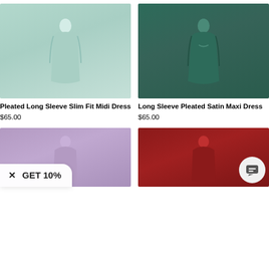[Figure (photo): Woman wearing a mint green pleated long sleeve slim fit midi dress, taken in a room with a chair and plant]
Pleated Long Sleeve Slim Fit Midi Dress
$65.00
[Figure (photo): Woman wearing a dark teal/green long sleeve pleated satin maxi dress with a wrap front and sash belt]
Long Sleeve Pleated Satin Maxi Dress
$65.00
[Figure (photo): Partial view of a purple dress product]
[Figure (photo): Partial view of a red/burgundy pleated dress product]
✕  GET 10%